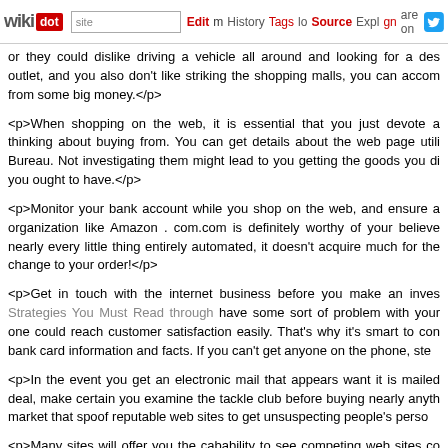wikidot | site | Edit | History | Tags | Source | Explore | Share on Twitter
or they could dislike driving a vehicle all around and looking for a best outlet, and you also don't like striking the shopping malls, you can accom from some big money.</p>
<p>When shopping on the web, it is essential that you just devote a thinking about buying from. You can get details about the web page utili Bureau. Not investigating them might lead to you getting the goods you di you ought to have.</p>
<p>Monitor your bank account while you shop on the web, and ensure a organization like Amazon . com.com is definitely worthy of your believe nearly every little thing entirely automated, it doesn't acquire much for th change to your order!</p>
<p>Get in touch with the internet business before you make an inves Strategies You Must Read through have some sort of problem with your one could reach customer satisfaction easily. That's why it's smart to con bank card information and facts. If you can't get anyone on the phone, ste
<p>In the event you get an electronic mail that appears want it is mailed deal, make certain you examine the tackle club before buying nearly anyth market that spoof reputable web sites to get unsuspecting people's perso
<p>Many sites will offer you the cabability to see competing web sites co cash over time. Many sites will &quot;pricematch&quot; an identical produ actually supplied on the cheap in a different web site. Find out which we your benefit to get the most from the price savings.</p>
<p>If you intend on purchasing an item that you really should profit, s exchanges. A lot of online retailers would like your business therefore